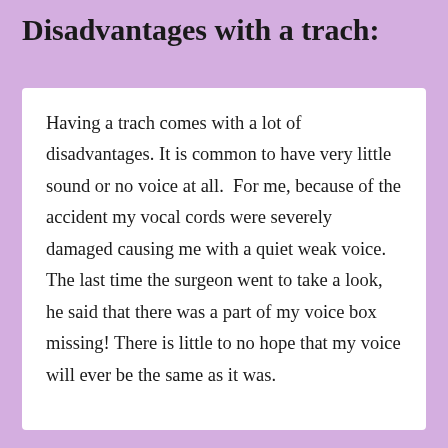Disadvantages with a trach:
Having a trach comes with a lot of disadvantages. It is common to have very little sound or no voice at all.  For me, because of the accident my vocal cords were severely damaged causing me with a quiet weak voice. The last time the surgeon went to take a look, he said that there was a part of my voice box missing! There is little to no hope that my voice will ever be the same as it was.